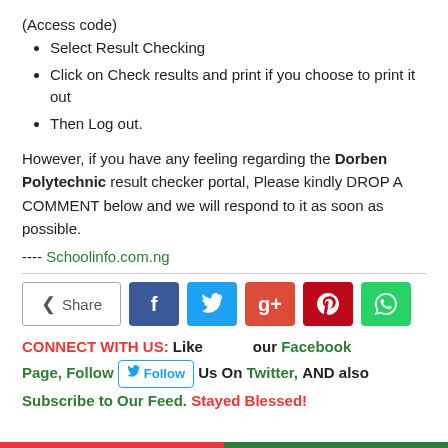(Access code)
Select Result Checking
Click on Check results and print if you choose to print it out
Then Log out.
However, if you have any feeling regarding the Dorben Polytechnic result checker portal, Please kindly DROP A COMMENT below and we will respond to it as soon as possible.
---- Schoolinfo.com.ng
[Figure (infographic): Share button with social media icons: Facebook (blue), Twitter (light blue), Google+ (red-orange), Pinterest (dark red), WhatsApp (green)]
CONNECT WITH US: Like our Facebook Page, Follow Us On Twitter, AND also Subscribe to Our Feed. Stayed Blessed!